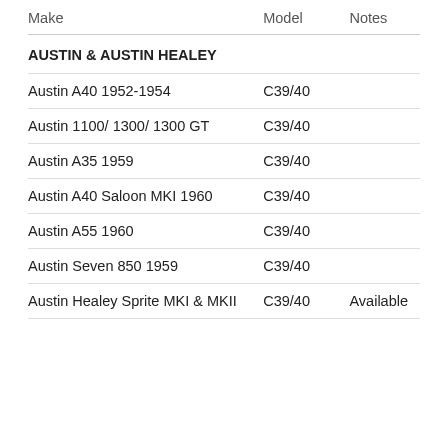| Make | Model | Notes |
| --- | --- | --- |
| AUSTIN & AUSTIN HEALEY |  |  |
| Austin A40 1952-1954 | C39/40 |  |
| Austin 1100/ 1300/ 1300 GT | C39/40 |  |
| Austin A35 1959 | C39/40 |  |
| Austin A40 Saloon MKI 1960 | C39/40 |  |
| Austin A55 1960 | C39/40 |  |
| Austin Seven 850 1959 | C39/40 |  |
| Austin Healey Sprite MKI & MKII | C39/40 | Available |